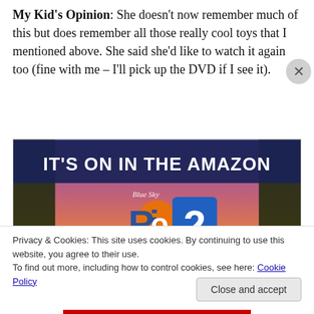My Kid's Opinion: She doesn't now remember much of this but does remember all those really cool toys that I mentioned above. She said she'd like to watch it again too (fine with me – I'll pick up the DVD if I see it).
[Figure (photo): Movie promotional image for Rio 2 by Blue Sky Studios. Text reads 'IT'S ON IN THE AMAZON' with cartoon parrots and jungle birds characters shown against a sunset background.]
Privacy & Cookies: This site uses cookies. By continuing to use this website, you agree to their use.
To find out more, including how to control cookies, see here: Cookie Policy
Close and accept